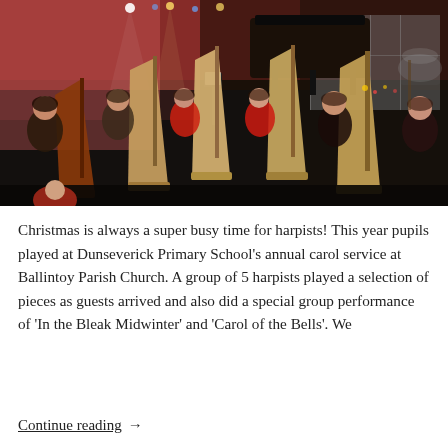[Figure (photo): Group of harpists with harps in a darkened church or hall setting with stage lighting, piano visible in background]
Christmas is always a super busy time for harpists! This year pupils played at Dunseverick Primary School's annual carol service at Ballintoy Parish Church. A group of 5 harpists played a selection of pieces as guests arrived and also did a special group performance of ‘In the Bleak Midwinter’ and ‘Carol of the Bells’. We
Continue reading →